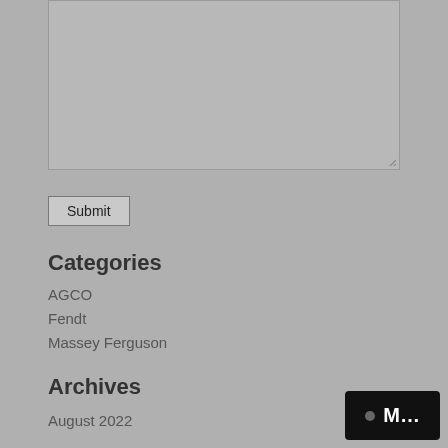[Figure (screenshot): A text area input box with a resize handle in the bottom-right corner, shown on a gray background.]
Submit
Categories
AGCO
Fendt
Massey Ferguson
Archives
August 2022
[Figure (screenshot): A black badge/button overlay in the bottom-right corner showing a gray dot and the text 'M...']